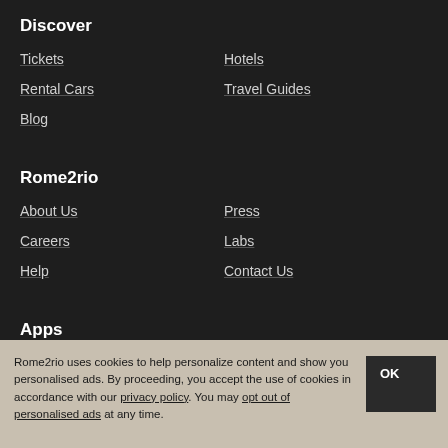Discover
Tickets
Hotels
Rental Cars
Travel Guides
Blog
Rome2rio
About Us
Press
Careers
Labs
Help
Contact Us
Apps
iOS App
Android App
Rome2rio uses cookies to help personalize content and show you personalised ads. By proceeding, you accept the use of cookies in accordance with our privacy policy. You may opt out of personalised ads at any time.